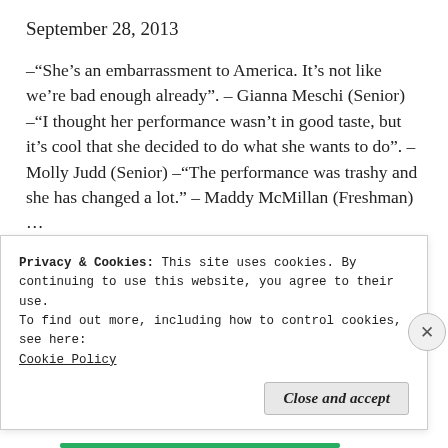September 28, 2013
–“She’s an embarrassment to America. It’s not like we’re bad enough already”. – Gianna Meschi (Senior) –“I thought her performance wasn’t in good taste, but it’s cool that she decided to do what she wants to do”. – Molly Judd (Senior) –“The performance was trashy and she has changed a lot.” – Maddy McMillan (Freshman) ...
More
Privacy & Cookies: This site uses cookies. By continuing to use this website, you agree to their use.
To find out more, including how to control cookies, see here: Cookie Policy
Close and accept